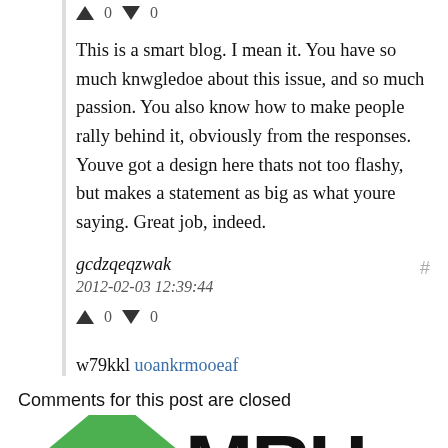This is a smart blog. I mean it. You have so much knwgledoe about this issue, and so much passion. You also know how to make people rally behind it, obviously from the responses. Youve got a design here thats not too flashy, but makes a statement as big as what youre saying. Great job, indeed.
gcdzqeqzwak
2012-02-03 12:39:44
w79kkl uoankrmooeaf
Comments for this post are closed
[Figure (logo): MRU logo with green house/play button icon and large MRU text]